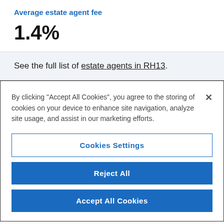Average estate agent fee
1.4%
See the full list of estate agents in RH13.
By clicking “Accept All Cookies”, you agree to the storing of cookies on your device to enhance site navigation, analyze site usage, and assist in our marketing efforts.
Cookies Settings
Reject All
Accept All Cookies